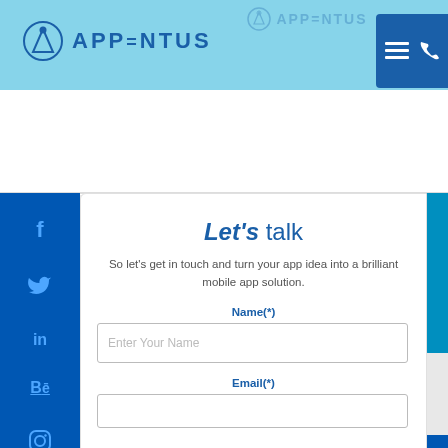[Figure (logo): Appentus logo with circular icon and bold text in header bar]
[Figure (screenshot): Navigation menu and phone icon button in dark blue square at top right]
[Figure (infographic): Social media sidebar with Facebook (f), Twitter bird, LinkedIn (in), Behance (Be), and Instagram icons on dark blue background]
Let's talk
So let's get in touch and turn your app idea into a brilliant mobile app solution.
Name(*)
Enter Your Name
Email(*)